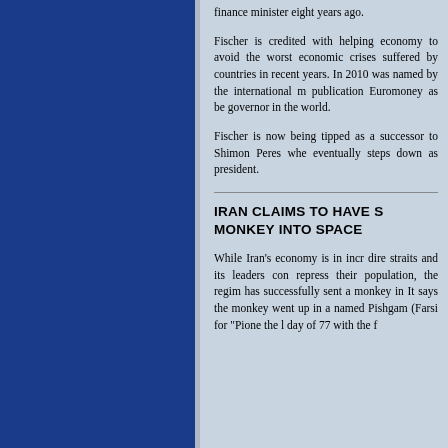finance minister eight years ago.
Fischer is credited with helping economy to avoid the worst economic crises suffered by countries in recent years. In 2010 was named by the international publication Euromoney as be governor in the world.
Fischer is now being tipped as a successor to Shimon Peres whe eventually steps down as president.
IRAN CLAIMS TO HAVE S MONKEY INTO SPACE
While Iran's economy is in incr dire straits and its leaders con repress their population, the regim has successfully sent a monkey in It says the monkey went up in a named Pishgam (Farsi for "Pione the 1 day of 77 with the f